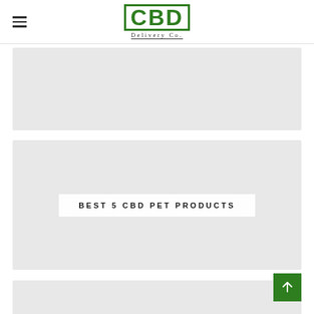CBD Delivery Co.
[Figure (other): Gray placeholder card (first article thumbnail)]
[Figure (other): Gray placeholder card with centered white label reading BEST 5 CBD PET PRODUCTS]
BEST 5 CBD PET PRODUCTS
[Figure (other): Gray placeholder card (partially visible, third article) with centered white label reading BEST 7 CBD GUMMIES]
BEST 7 CBD GUMMIES